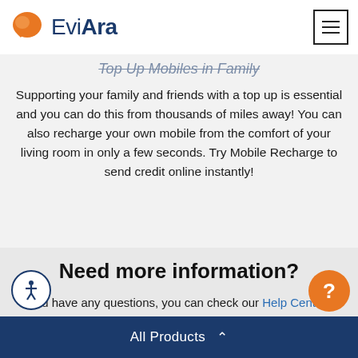EviAra
Top Up Mobiles in Family
Supporting your family and friends with a top up is essential and you can do this from thousands of miles away! You can also recharge your own mobile from the comfort of your living room in only a few seconds. Try Mobile Recharge to send credit online instantly!
Need more information?
If you have any questions, you can check our Help Center. If you can't find an answer there, you can always contact our Customer Support team. And we mean ALWAYS, as they are available 24/7.
All Products